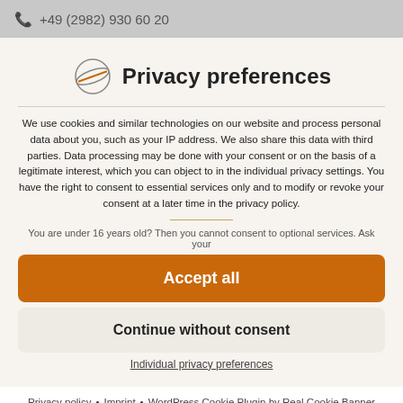+49 (2982) 930 60 20
Privacy preferences
We use cookies and similar technologies on our website and process personal data about you, such as your IP address. We also share this data with third parties. Data processing may be done with your consent or on the basis of a legitimate interest, which you can object to in the individual privacy settings. You have the right to consent to essential services only and to modify or revoke your consent at a later time in the privacy policy.
You are under 16 years old? Then you cannot consent to optional services. Ask your
Accept all
Continue without consent
Individual privacy preferences
Privacy policy • Imprint • WordPress Cookie Plugin by Real Cookie Banner